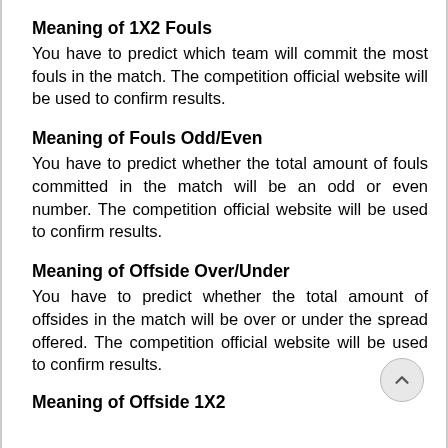Meaning of 1X2 Fouls
You have to predict which team will commit the most fouls in the match. The competition official website will be used to confirm results.
Meaning of Fouls Odd/Even
You have to predict whether the total amount of fouls committed in the match will be an odd or even number. The competition official website will be used to confirm results.
Meaning of Offside Over/Under
You have to predict whether the total amount of offsides in the match will be over or under the spread offered. The competition official website will be used to confirm results.
Meaning of Offside 1X2